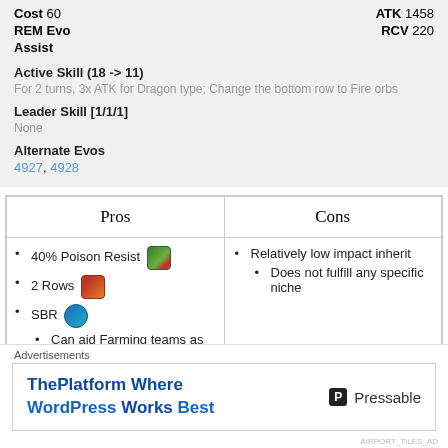Cost 60   ATK 1458
REM Evo   RCV 220
Assist
Active Skill (18 -> 11)
For 2 turns, 3x ATK for Dragon type; Change the bottom row to Fire orbs
Leader Skill [1/1/1]
None
Alternate Evos
4927, 4928
| Pros | Cons |
| --- | --- |
| • 40% Poison Resist [icon]
• 2 Rows [icon]
• SBR [icon]
  • Can aid Farming teams as many subs can lack SBR | • Relatively low impact inherit
  • Does not fulfill any specific niche |
Advertisements
ThePlatform Where WordPress Works Best   Pressable